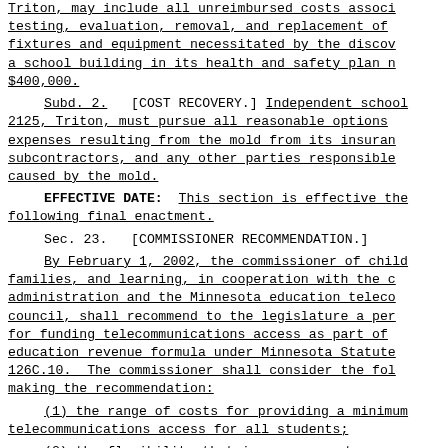Triton, may include all unreimbursed costs associated with testing, evaluation, removal, and replacement of fixtures and equipment necessitated by the discovery of a school building in its health and safety plan not to exceed $400,000.
Subd. 2. [COST RECOVERY.] Independent school district 2125, Triton, must pursue all reasonable options to recover expenses resulting from the mold from its insurance carriers, subcontractors, and any other parties responsible for damage caused by the mold.
EFFECTIVE DATE: This section is effective the day following final enactment.
Sec. 23. [COMMISSIONER RECOMMENDATION.]
By February 1, 2002, the commissioner of children, families, and learning, in cooperation with the department of administration and the Minnesota education telecommunications council, shall recommend to the legislature a per pupil formula for funding telecommunications access as part of the general education revenue formula under Minnesota Statutes, section 126C.10. The commissioner shall consider the following in making the recommendation:
(1) the range of costs for providing a minimum level of telecommunications access for all students;
(2) the flexibility that is necessary to accommodate emerging technological advances in the telecommunications